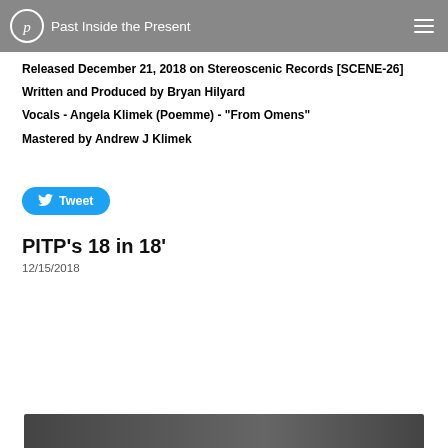Past Inside the Present
Released December 21, 2018 on Stereoscenic Records [SCENE-26]
Written and Produced by Bryan Hilyard
Vocals - Angela Klimek (Poemme) - "From Omens"
Mastered by Andrew J Klimek
[Figure (other): Tweet button with Twitter bird icon]
PITP's 18 in 18'
12/15/2018
[Figure (photo): Partial bottom image, dark toned photograph]